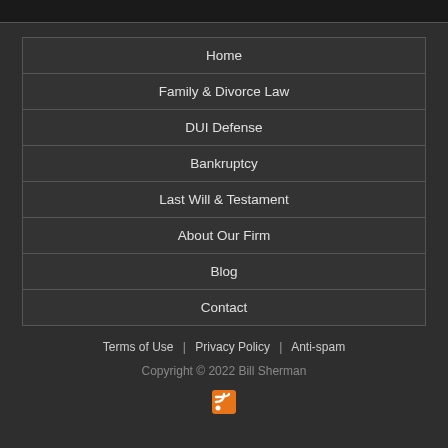Home
Family & Divorce Law
DUI Defense
Bankruptcy
Last Will & Testament
About Our Firm
Blog
Contact
Terms of Use | Privacy Policy | Anti-spam
Copyright © 2022 Bill Sherman
[Figure (logo): RSS feed icon - orange square with RSS symbol]